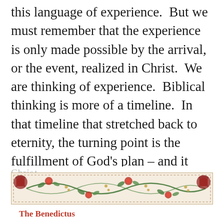this language of experience.  But we must remember that the experience is only made possible by the arrival, or the event, realized in Christ.  We are thinking of experience.  Biblical thinking is more of a timeline.  In that timeline that stretched back to eternity, the turning point is the fulfillment of God’s plan – and it happened in the coming of the Son of God.  With that event, the experience is now made possible for all who are in union with Christ.
[Figure (illustration): Decorative ornamental border with red and green floral/scroll patterns on a cream background, with a dashed inner border. Below the ornament, text reads 'The Benedictus' in bold red.]